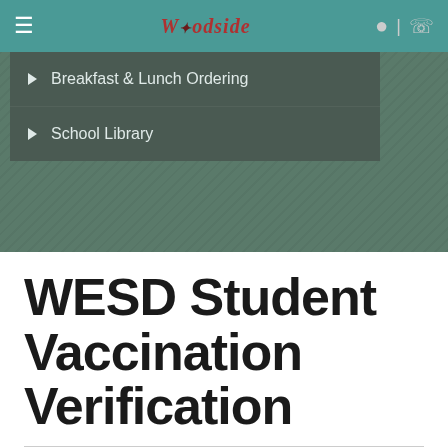[Figure (screenshot): Mobile website navigation bar for Woodside school district with hamburger menu, logo, location and phone icons on teal background]
Breakfast & Lunch Ordering
School Library
WESD Student Vaccination Verification
Proof of Covid Vaccination for